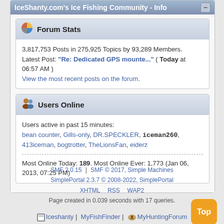IceShanty.com's Ice Fishing Community - Info
Forum Stats
3,817,753 Posts in 275,925 Topics by 93,289 Members. Latest Post: "Re: Dedicated GPS mounte..." ( Today at 06:57 AM ) View the most recent posts on the forum.
Users Online
Users active in past 15 minutes: bean counter, Gills-only, DR.SPECKLER, iceman260, 413iceman, bogtrotter, TheLionsFan, eiderz
Most Online Today: 189. Most Online Ever: 1,773 (Jan 06, 2013, 07:25 PM)
SMF 2.0.15 | SMF © 2017, Simple Machines SimplePortal 2.3.7 © 2008-2022, SimplePortal XHTML RSS WAP2 Page created in 0.039 seconds with 17 queries.
Iceshanty | MyFishFinder | MyHuntingForum